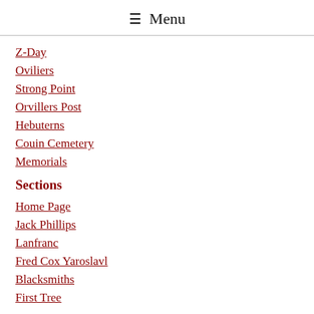≡ Menu
Z-Day
Oviliers
Strong Point
Orvillers Post
Hebuterns
Couin Cemetery
Memorials
Sections
Home Page
Jack Phillips
Lanfranc
Fred Cox Yaroslavl
Blacksmiths
First Tree